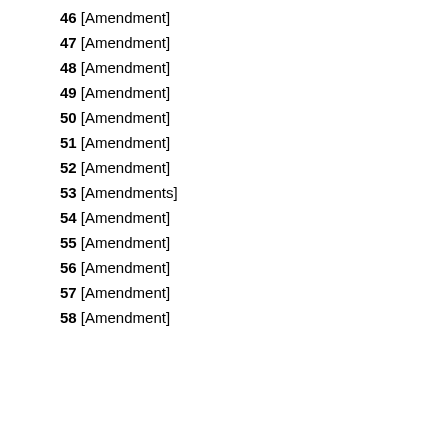46 [Amendment]
47 [Amendment]
48 [Amendment]
49 [Amendment]
50 [Amendment]
51 [Amendment]
52 [Amendment]
53 [Amendments]
54 [Amendment]
55 [Amendment]
56 [Amendment]
57 [Amendment]
58 [Amendment]